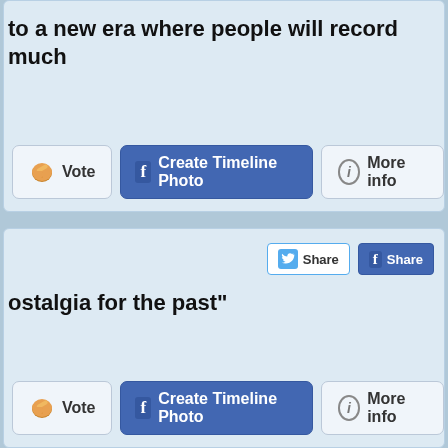to a new era where people will record much
[Figure (screenshot): Vote, Create Timeline Photo, More info buttons]
[Figure (screenshot): Twitter Share and Facebook Share buttons]
ostalgia for the past"
[Figure (screenshot): Vote, Create Timeline Photo, More info buttons (second set)]